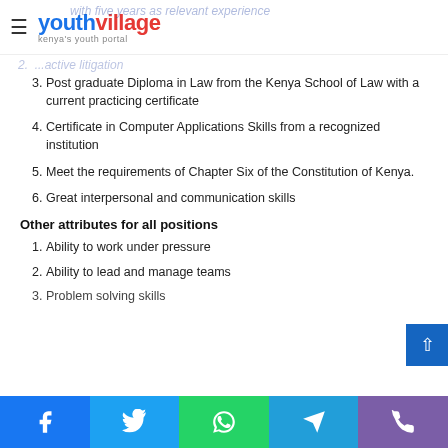youthvillage — kenya's youth portal
3. Post graduate Diploma in Law from the Kenya School of Law with a current practicing certificate
4. Certificate in Computer Applications Skills from a recognized institution
5. Meet the requirements of Chapter Six of the Constitution of Kenya.
6. Great interpersonal and communication skills
Other attributes for all positions
1. Ability to work under pressure
2. Ability to lead and manage teams
3. Problem solving skills